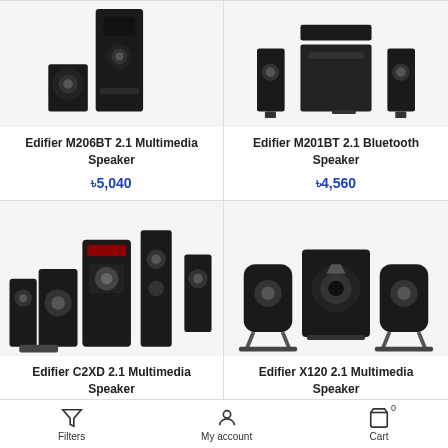[Figure (photo): Edifier M206BT 2.1 Multimedia Speaker product image - tall black speaker with subwoofer]
Edifier M206BT 2.1 Multimedia Speaker
৳5,040
[Figure (photo): Edifier M201BT 2.1 Bluetooth Speaker product image - flat speakers and satellite units]
Edifier M201BT 2.1 Bluetooth Speaker
৳4,560
[Figure (photo): Edifier C2XD 2.1 Multimedia Speaker product image - surround speaker system with multiple units]
Edifier C2XD 2.1 Multimedia Speaker
[Figure (photo): Edifier X120 2.1 Multimedia Speaker product image - small satellite speakers with subwoofer]
Edifier X120 2.1 Multimedia Speaker
Filters   My account   Cart